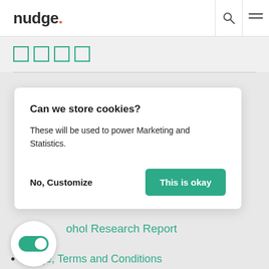nudge.
[Figure (screenshot): Navigation breadcrumb area with four teal/green outlined squares]
Can we store cookies?
These will be used to power Marketing and Statistics.
No, Customize   This is okay
Strategy
earch
nt Marketing – What makes it Shareable?
ohol Research Report
Nudge, Terms and Conditions
[Figure (screenshot): Green toggle switch button in white circular container]